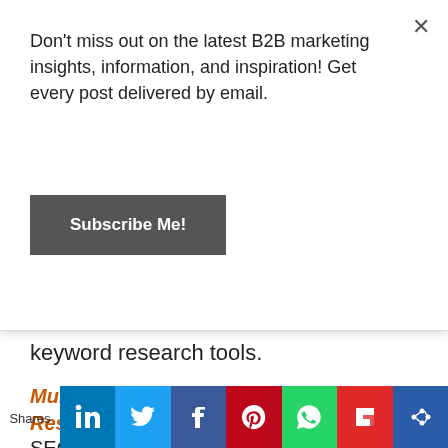Don't miss out on the latest B2B marketing insights, information, and inspiration! Get every post delivered by email.
Subscribe Me!
keyword research tools.
Multi-level Google Suggest Keyword Research: Featured Tool of the Month by SEO Chat
The brilliant and prolific Ann Smarty shows how to use the Google Suggest keyword research tool, expanding each
[Figure (photo): Portrait photo of Ann Smarty, a woman with long blonde hair]
Shares